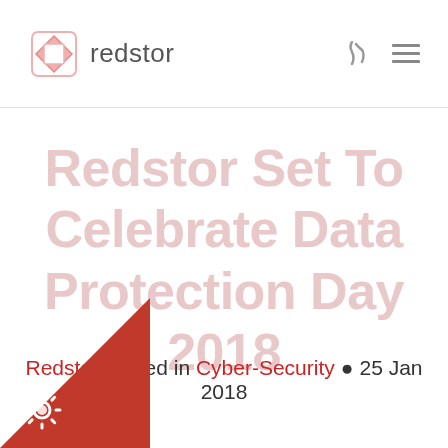redstor
Redstor Set To Celebrate Data Protection Day 2018
Redstor posted in Cyber-Security • 25 Jan 2018
[Figure (logo): Red gear/badge icon at bottom left corner on a red triangle background]